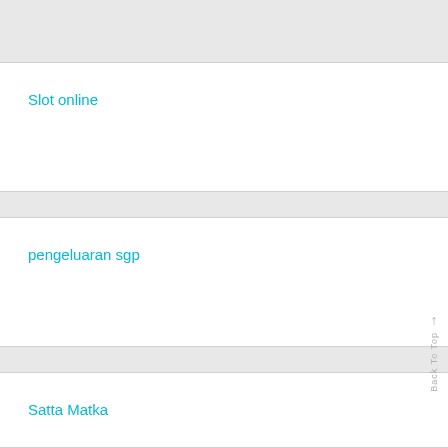Slot online
pengeluaran sgp
Satta Matka